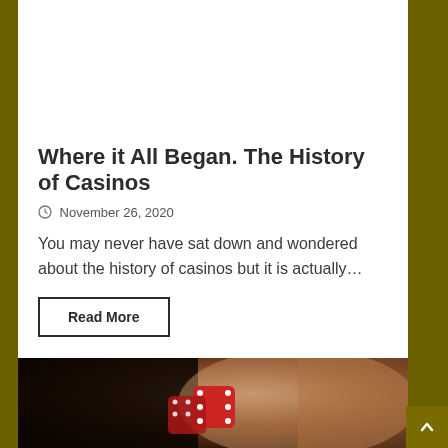[Figure (photo): Top portion of a casino roulette wheel viewed from above, warm tones with ornate decorations]
Where it All Began. The History of Casinos
November 26, 2020
You may never have sat down and wondered about the history of casinos but it is actually…
Read More
[Figure (photo): Blurred close-up photo of red dice on a dark background with warm bokeh lighting]